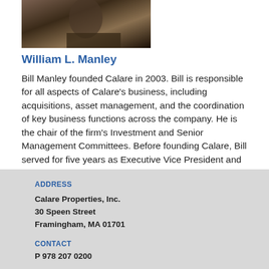[Figure (photo): Portrait photo of William L. Manley, partially visible, dark background]
William L. Manley
Bill Manley founded Calare in 2003. Bill is responsible for all aspects of Calare's business, including acquisitions, asset management, and the coordination of key business functions across the company. He is the chair of the firm's Investment and Senior Management Committees. Before founding Calare, Bill served for five years as Executive Vice President and Head [...]
Written by developer on October 31, 2018
ADDRESS
Calare Properties, Inc.
30 Speen Street
Framingham, MA 01701
CONTACT
P 978 207 0200